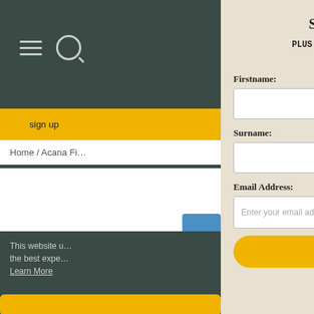[Figure (screenshot): Left panel showing a website with dark teal navigation bar with hamburger menu and search icon, yellow strip with sign up tag, breadcrumb navigation, and cookie consent bar with Learn More link]
Sign up to our emails!
PLUS get 10% off your first order! (*new customers only)
Firstname:
Surname:
Email Address:
Enter your email address
Submit
[Figure (other): Pets Chat button with speech bubble icon in yellow rounded rectangle]